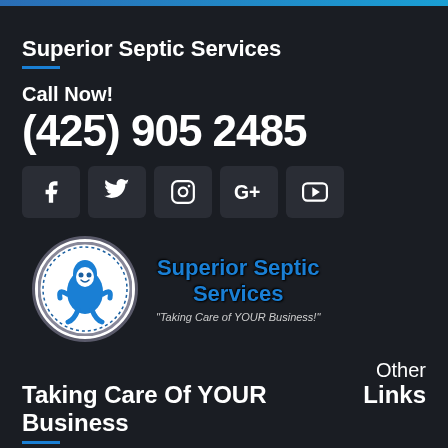Superior Septic Services
Call Now!
(425) 905 2485
[Figure (illustration): Social media icons: Facebook, Twitter, Instagram, Google+, YouTube in dark rounded-square boxes]
[Figure (logo): Superior Septic Services logo: circular badge with blue water drop character mascot, text 'Superior Septic Services LLC' around border, and company name 'Superior Septic Services' in blue to the right with tagline 'Taking Care of YOUR Business!']
Other
Taking Care Of YOUR BusinessLinks